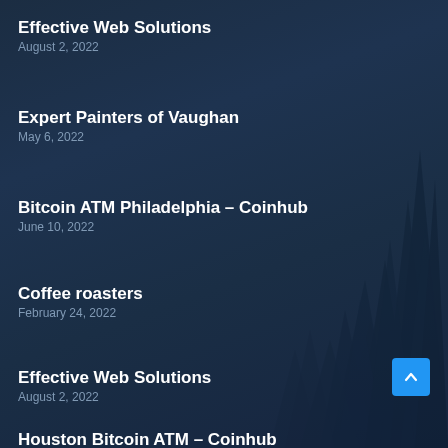Effective Web Solutions
August 2, 2022
Expert Painters of Vaughan
May 6, 2022
Bitcoin ATM Philadelphia – Coinhub
June 10, 2022
Coffee roasters
February 24, 2022
Effective Web Solutions
August 2, 2022
Houston Bitcoin ATM – Coinhub (partial)